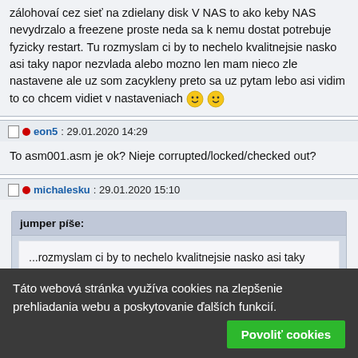zálohovaí cez sieť na zdielany disk V NAS to ako keby NAS nevydrzalo a freezene proste neda sa k nemu dostat potrebuje fyzicky restart. Tu rozmyslam ci by to nechelo kvalitnejsie nasko asi taky napor nezvlada alebo mozno len mam nieco zle nastavene ale uz som zacykleny preto sa uz pytam lebo asi vidim to co chcem vidiet v nastaveniach 🙂 🙂
eon5: 29.01.2020 14:29
To asm001.asm je ok? Nieje corrupted/locked/checked out?
michalesku: 29.01.2020 15:10
jumper píše: ...rozmyslam ci by to nechelo kvalitnejsie nasko asi taky napor nezvlada...
Co mas teraz?
Táto webová stránka využíva cookies na zlepšenie prehliadania webu a poskytovanie ďalších funkcií.